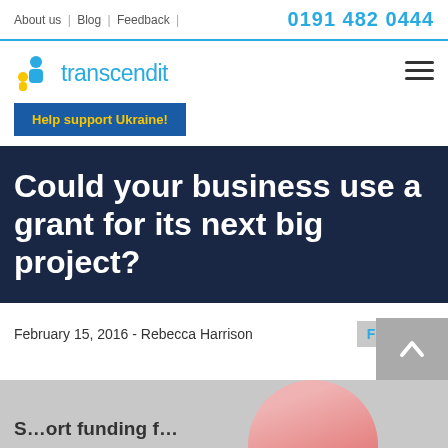About us | Blog | Feedback | 0191 482 0444
[Figure (logo): Transcendit logo with blue and yellow icon and blue text]
Help support Ukraine!
Could your business use a grant for its next big project?
February 15, 2016 - Rebecca Harrison
Funding